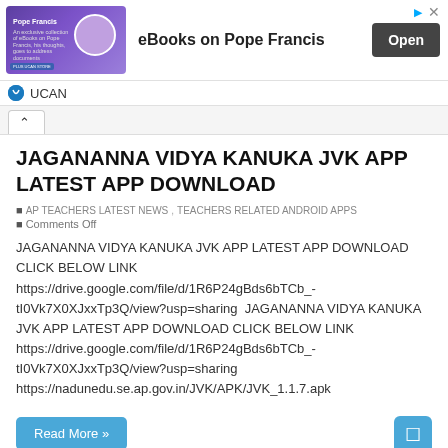[Figure (screenshot): Advertisement banner for eBooks on Pope Francis by UCAN, with a purple ad image block, 'eBooks on Pope Francis' text, and an 'Open' button]
UCAN
JAGANANNA VIDYA KANUKA JVK APP LATEST APP DOWNLOAD
AP TEACHERS LATEST NEWS, TEACHERS RELATED ANDROID APPS
Comments Off
JAGANANNA VIDYA KANUKA JVK APP LATEST APP DOWNLOAD CLICK BELOW LINK https://drive.google.com/file/d/1R6P24gBds6bTCb_-tI0Vk7X0XJxxTp3Q/view?usp=sharing  JAGANANNA VIDYA KANUKA JVK APP LATEST APP DOWNLOAD CLICK BELOW LINK https://drive.google.com/file/d/1R6P24gBds6bTCb_-tI0Vk7X0XJxxTp3Q/view?usp=sharing https://nadunedu.se.ap.gov.in/JVK/APK/JVK_1.1.7.apk
Read More »